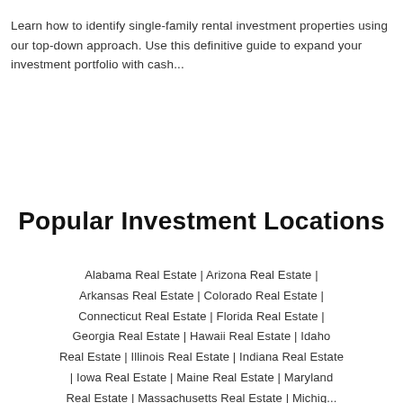Learn how to identify single-family rental investment properties using our top-down approach. Use this definitive guide to expand your investment portfolio with cash...
Popular Investment Locations
Alabama Real Estate | Arizona Real Estate | Arkansas Real Estate | Colorado Real Estate | Connecticut Real Estate | Florida Real Estate | Georgia Real Estate | Hawaii Real Estate | Idaho Real Estate | Illinois Real Estate | Indiana Real Estate | Iowa Real Estate | Maine Real Estate | Maryland Real Estate | Massachusetts Real Estate | Michigan...